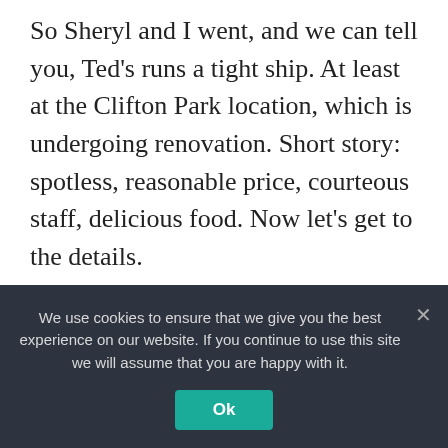So Sheryl and I went, and we can tell you, Ted's runs a tight ship. At least at the Clifton Park location, which is undergoing renovation. Short story: spotless, reasonable price, courteous staff, delicious food. Now let's get to the details.
Some background: Ted's Fish Fry is an American Dream story. Ted Deeb's parents emigrated from Lebanon, and Ted worked hard at various independent ventures until he hit on an open-air fruit stand. He converted it into a
We use cookies to ensure that we give you the best experience on our website. If you continue to use this site we will assume that you are happy with it.